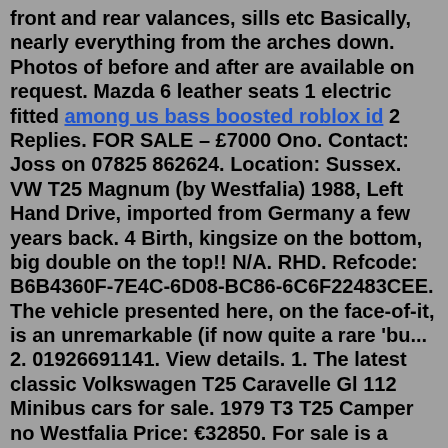front and rear valances, sills etc Basically, nearly everything from the arches down. Photos of before and after are available on request. Mazda 6 leather seats 1 electric fitted among us bass boosted roblox id 2 Replies. FOR SALE – £7000 Ono. Contact: Joss on 07825 862624. Location: Sussex. VW T25 Magnum (by Westfalia) 1988, Left Hand Drive, imported from Germany a few years back. 4 Birth, kingsize on the bottom, big double on the top!! N/A. RHD. Refcode: B6B4360F-7E4C-6D08-BC86-6C6F22483CEE. The vehicle presented here, on the face-of-it, is an unremarkable (if now quite a rare 'bu... 2. 01926691141. View details. 1. The latest classic Volkswagen T25 Caravelle Gl 112 Minibus cars for sale. 1979 T3 T25 Camper no Westfalia Price: €32850. For sale is a beautiful VW T3 Bulli Camper. It is Nr. 6.962 T3 over all from July 1979 accordingly air-cooled and with the rare metal-ears. The bus was converted by the company Eurec (Dutch premium mobile home manufacturer) as a camper in the Cassandra version and first delivered to Tyrol / Italy.